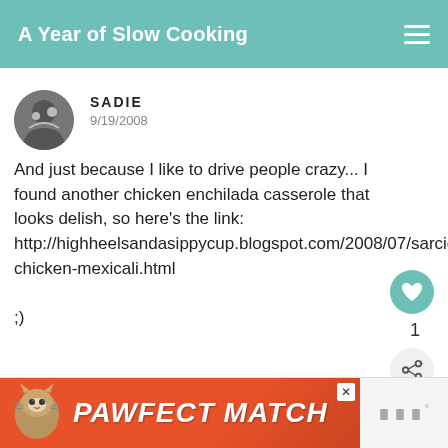A Year of Slow Cooking
SADIE
9/19/2008
And just because I like to drive people crazy... I found another chicken enchilada casserole that looks delish, so here's the link: http://highheelsandasippycup.blogspot.com/2008/07/sarcies-chicken-mexicali.html

;)
DELETE
WHAT'S NEXT → The CrockPot Diet
[Figure (photo): Advertisement banner: PAWFECT MATCH with a cat photo on orange background]